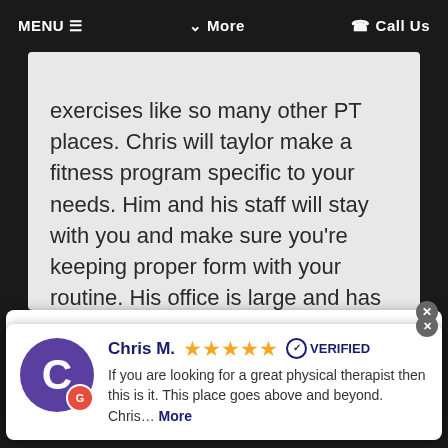MENU ≡   ∨ More   ☎ Call Us
exercises like so many other PT places. Chris will taylor make a fitness program specific to your needs. Him and his staff will stay with you and make sure you're keeping proper form with your routine. His office is large and has plenty of exercise equipment. There are lots of windows too so you never feel
Chris M. ★★★★★ ✓ VERIFIED
If you are looking for a great physical therapist then this is it. This place goes above and beyond. Chris… More